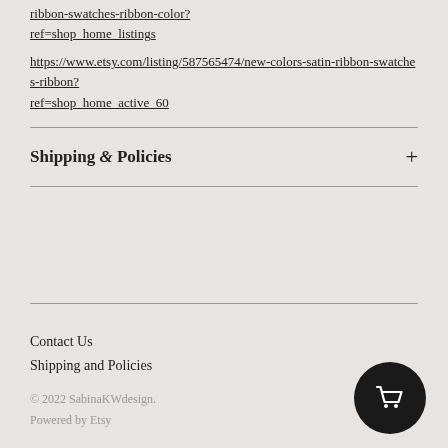https://www.etsy.com/listing/22303307/satin-ribbon-swatches-ribbon-color?ref=shop_home_listings
https://www.etsy.com/listing/587565474/new-colors-satin-ribbon-swatches-ribbon?ref=shop_home_active_60
Shipping & Policies
Contact Us
Shipping and Policies
© 2022 SabinaKWdesign.
Powered by Etsy